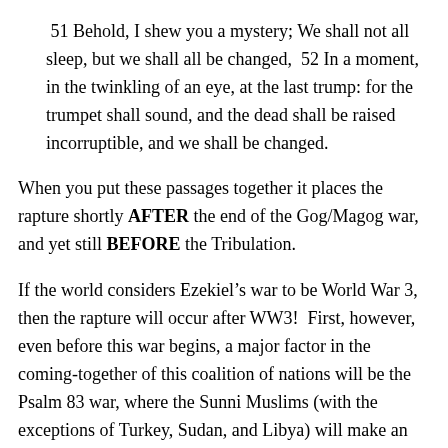51 Behold, I shew you a mystery; We shall not all sleep, but we shall all be changed,  52 In a moment, in the twinkling of an eye, at the last trump: for the trumpet shall sound, and the dead shall be raised incorruptible, and we shall be changed.
When you put these passages together it places the rapture shortly AFTER the end of the Gog/Magog war, and yet still BEFORE the Tribulation.
If the world considers Ezekiel’s war to be World War 3, then the rapture will occur after WW3!  First, however, even before this war begins, a major factor in the coming-together of this coalition of nations will be the Psalm 83 war, where the Sunni Muslims (with the exceptions of Turkey, Sudan, and Libya) will make an all-out-attack